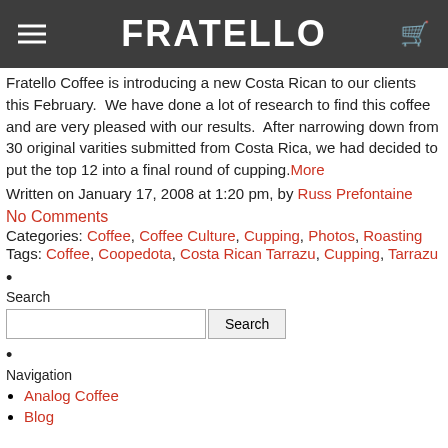FRATELLO
Fratello Coffee is introducing a new Costa Rican to our clients this February. We have done a lot of research to find this coffee and are very pleased with our results. After narrowing down from 30 original varities submitted from Costa Rica, we had decided to put the top 12 into a final round of cupping. More
Written on January 17, 2008 at 1:20 pm, by Russ Prefontaine
No Comments
Categories: Coffee, Coffee Culture, Cupping, Photos, Roasting
Tags: Coffee, Coopedota, Costa Rican Tarrazu, Cupping, Tarrazu
•
Search
•
Navigation
Analog Coffee
Blog